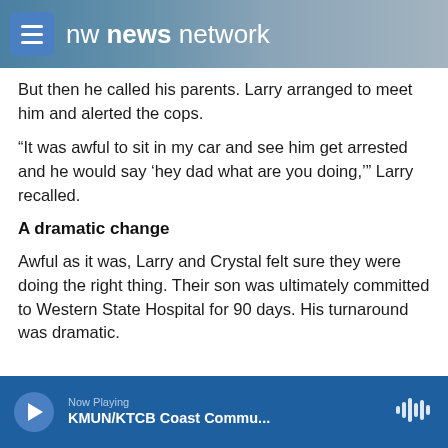nw news network
But then he called his parents. Larry arranged to meet him and alerted the cops.
“It was awful to sit in my car and see him get arrested and he would say ‘hey dad what are you doing,’” Larry recalled.
A dramatic change
Awful as it was, Larry and Crystal felt sure they were doing the right thing. Their son was ultimately committed to Western State Hospital for 90 days. His turnaround was dramatic.
Now Playing  KMUN/KTCB Coast Commu...